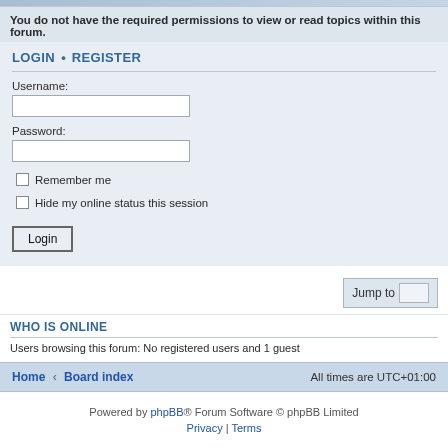You do not have the required permissions to view or read topics within this forum.
LOGIN • REGISTER
Username:
Password:
Remember me
Hide my online status this session
Login
Jump to
WHO IS ONLINE
Users browsing this forum: No registered users and 1 guest
Home • Board index   All times are UTC+01:00
Powered by phpBB® Forum Software © phpBB Limited
Privacy | Terms